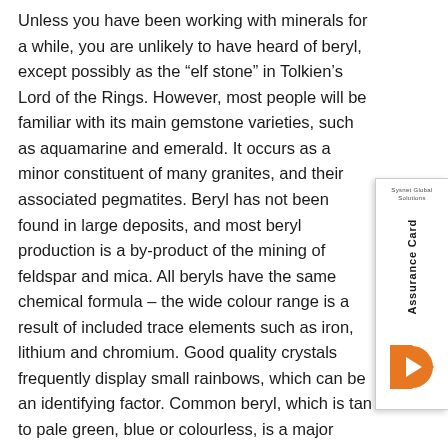Unless you have been working with minerals for a while, you are unlikely to have heard of beryl, except possibly as the “elf stone” in Tolkien’s Lord of the Rings. However, most people will be familiar with its main gemstone varieties, such as aquamarine and emerald. It occurs as a minor constituent of many granites, and their associated pegmatites. Beryl has not been found in large deposits, and most beryl production is a by-product of the mining of feldspar and mica. All beryls have the same chemical formula – the wide colour range is a result of included trace elements such as iron, lithium and chromium. Good quality crystals frequently display small rainbows, which can be an identifying factor. Common beryl, which is tan to pale green, blue or colourless, is a major source of the rare element beryllium, used to regulate the flow of neutrons in beryllium moderated nuclear reactors. Up until 1925, when this use was discovered, beryl was used exclusively as a
[Figure (other): Sysnet Global Solutions Assurance Card sidebar widget with orange arrow button]